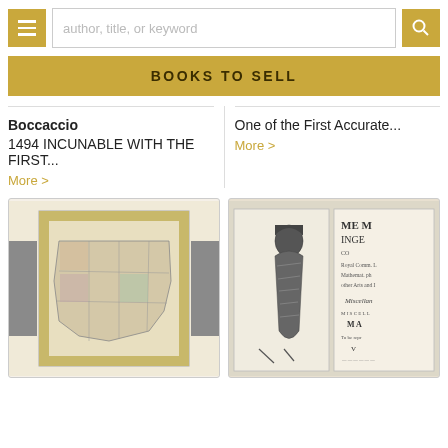author, title, or keyword [search bar with menu and search button]
BOOKS TO SELL
Boccaccio
1494 INCUNABLE WITH THE FIRST...
More >
One of the First Accurate...
More >
[Figure (photo): Antique folded map of the United States displayed flat]
[Figure (photo): Open old book showing an engraving of a mummified figure on the left page and dense text on the right page with partial text 'MEM INGE' visible]